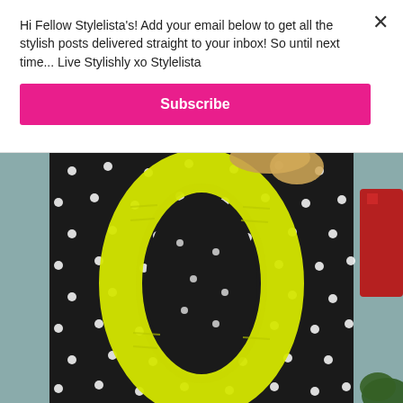Hi Fellow Stylelista's! Add your email below to get all the stylish posts delivered straight to your inbox! So until next time... Live Stylishly xo Stylelista
Subscribe
[Figure (photo): Person wearing a black and white polka dot dress or top with a bright neon yellow knitted infinity scarf. Background shows a teal/grey wall and a glimpse of a red item on the right side.]